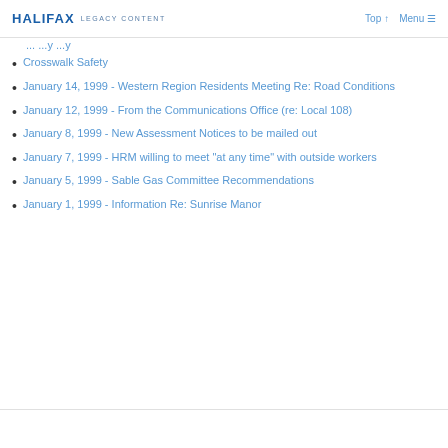HALIFAX LEGACY CONTENT | Top ↑ Menu ≡
Crosswalk Safety
January 14, 1999 - Western Region Residents Meeting Re: Road Conditions
January 12, 1999 - From the Communications Office (re: Local 108)
January 8, 1999 - New Assessment Notices to be mailed out
January 7, 1999 - HRM willing to meet "at any time" with outside workers
January 5, 1999 - Sable Gas Committee Recommendations
January 1, 1999 - Information Re: Sunrise Manor